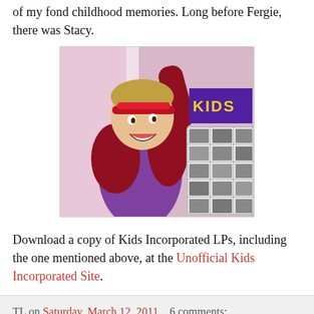of my fond childhood memories. Long before Fergie, there was Stacy.
[Figure (photo): A young child with a red sparkly headband and purple/red outfit, smiling and raising arm, appears to be on a TV show set with a backdrop showing a 'KIDS' sign and a display rack.]
Download a copy of Kids Incorporated LPs, including the one mentioned above, at the Unofficial Kids Incorporated Site.
TL on Saturday, March 12, 2011   6 comments:
McDonald's Lego Happy Meals